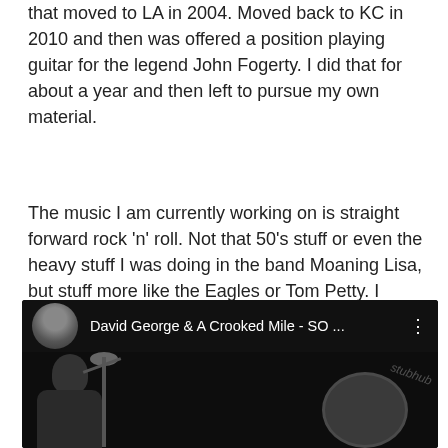that moved to LA in 2004. Moved back to KC in 2010 and then was offered a position playing guitar for the legend John Fogerty. I did that for about a year and then left to pursue my own material.
The music I am currently working on is straight forward rock 'n' roll. Not that 50's stuff or even the heavy stuff I was doing in the band Moaning Lisa, but stuff more like the Eagles or Tom Petty. I released an EP of acoustic stuff in April and plan on releasing two more this year. The next two albums get more complex; full band, horns, etc.
[Figure (screenshot): YouTube video player showing 'David George & A Crooked Mile - SO ...' with a dark thumbnail of a person at a microphone with drums in background]